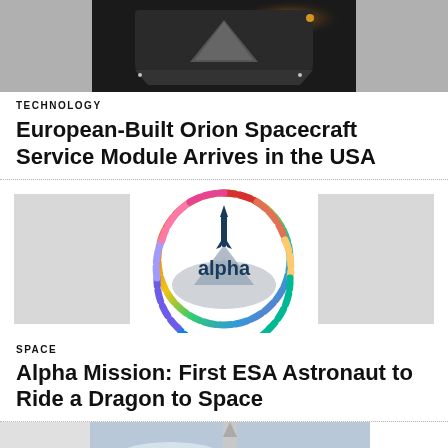[Figure (photo): Night-time photograph of a spacecraft or large equipment being loaded/unloaded from an aircraft]
TECHNOLOGY
European-Built Orion Spacecraft Service Module Arrives in the USA
[Figure (logo): Alpha mission patch logo — circular badge with colorful dashed border and rocket illustration with 'alpha' text]
SPACE
Alpha Mission: First ESA Astronaut to Ride a Dragon to Space
[Figure (photo): Rocket launch photo with rocket visible against cloudy sky]